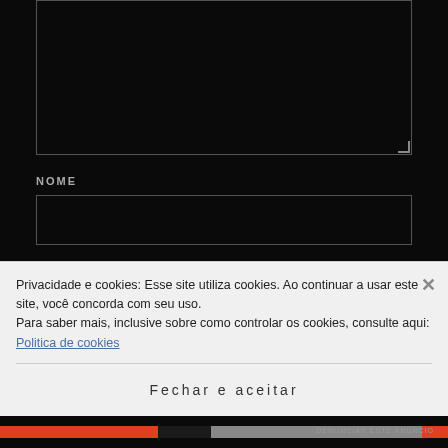[Figure (screenshot): Dark-themed web form with a large textarea (partially visible at top), a NOME text input field, and an EMAIL text input field, all with dark backgrounds and gray borders.]
NOME
EMAIL
Privacidade e cookies: Esse site utiliza cookies. Ao continuar a usar este site, você concorda com seu uso.
Para saber mais, inclusive sobre como controlar os cookies, consulte aqui:
Politica de cookies
Fechar e aceitar